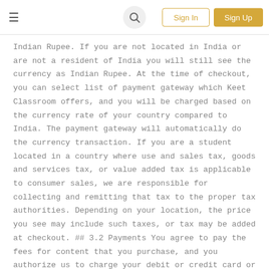≡  🔍  Sign In  Sign Up
Indian Rupee. If you are not located in India or are not a resident of India you will still see the currency as Indian Rupee. At the time of checkout, you can select list of payment gateway which Keet Classroom offers, and you will be charged based on the currency rate of your country compared to India. The payment gateway will automatically do the currency transaction. If you are a student located in a country where use and sales tax, goods and services tax, or value added tax is applicable to consumer sales, we are responsible for collecting and remitting that tax to the proper tax authorities. Depending on your location, the price you see may include such taxes, or tax may be added at checkout. ## 3.2 Payments You agree to pay the fees for content that you purchase, and you authorize us to charge your debit or credit card or process other means of payment